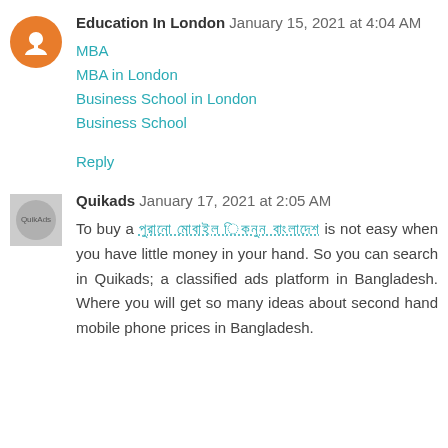Education In London   January 15, 2021 at 4:04 AM
MBA
MBA in London
Business School in London
Business School
Reply
Quikads   January 17, 2021 at 2:05 AM
To buy a [Bengali text link] is not easy when you have little money in your hand. So you can search in Quikads; a classified ads platform in Bangladesh. Where you will get so many ideas about second hand mobile phone prices in Bangladesh.